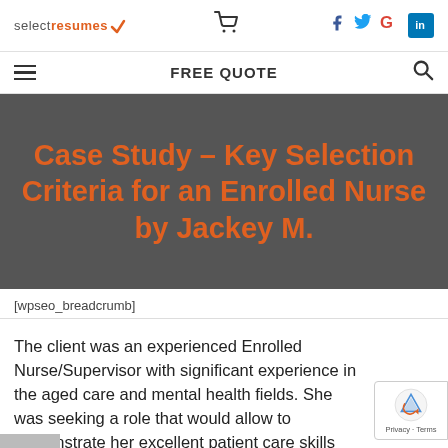selectresumes — FREE QUOTE
Case Study – Key Selection Criteria for an Enrolled Nurse by Jackey M.
[wpseo_breadcrumb]
The client was an experienced Enrolled Nurse/Supervisor with significant experience in the aged care and mental health fields. She was seeking a role that would allow to demonstrate her excellent patient care skills and